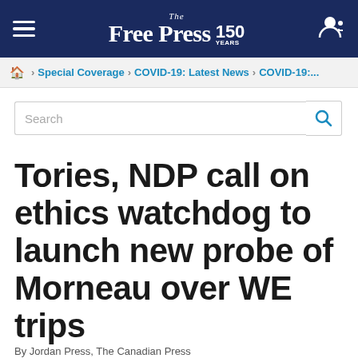The Free Press 150 YEARS
🏠 > Special Coverage > COVID-19: Latest News > COVID-19:...
Search
Tories, NDP call on ethics watchdog to launch new probe of Morneau over WE trips
By Jordan Press, The Canadian Press